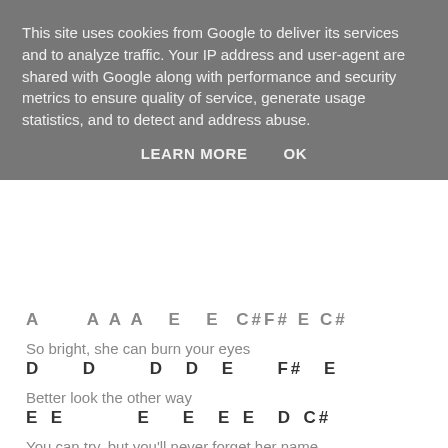This site uses cookies from Google to deliver its services and to analyze traffic. Your IP address and user-agent are shared with Google along with performance and security metrics to ensure quality of service, generate usage statistics, and to detect and address abuse.
LEARN MORE    OK
A      A A A   E   E  C# F# E C#
So bright, she can burn your eyes
D    D     D  D  E    F#  E
Better look the other way
E E       E   E  E E  D C#
You can try, but you'll never forget her name
A     A   A    A  A     A A    A B C# F# E C#
She's on top of the world
D       D  E  E  F#  E